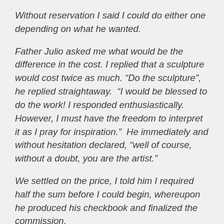Without reservation I said I could do either one depending on what he wanted.
Father Julio asked me what would be the difference in the cost. I replied that a sculpture would cost twice as much. “Do the sculpture”, he replied straightaway.  “I would be blessed to do the work! I responded enthusiastically. However, I must have the freedom to interpret it as I pray for inspiration.”  He immediately and without hesitation declared, “well of course, without a doubt, you are the artist.”
We settled on the price, I told him I required half the sum before I could begin, whereupon he produced his checkbook and finalized the commission.